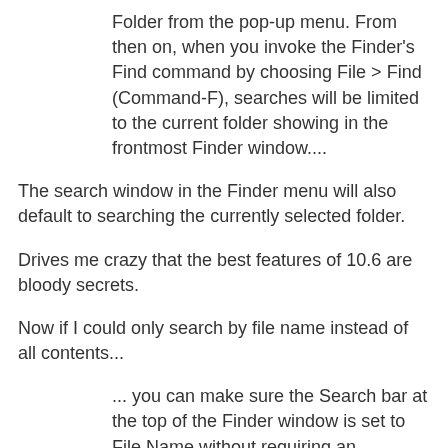Folder from the pop-up menu. From then on, when you invoke the Finder's Find command by choosing File > Find (Command-F), searches will be limited to the current folder showing in the frontmost Finder window....
The search window in the Finder menu will also default to searching the currently selected folder.
Drives me crazy that the best features of 10.6 are bloody secrets.
Now if I could only search by file name instead of all contents...
... you can make sure the Search bar at the top of the Finder window is set to File Name without requiring an additional click. Hold down the Shift key, and choose File > Find by Name (Command-Shift-F). This command is available in both Mac OS X 10.5 Leopard and 10.6 Snow Leopard...